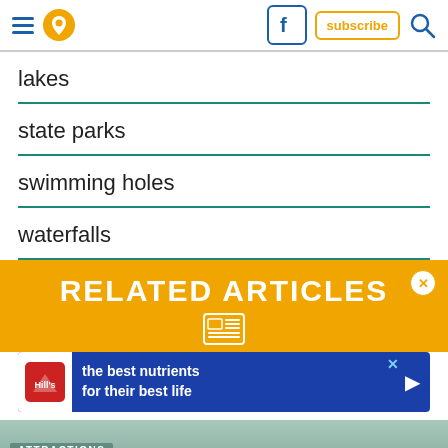Navigation header with hamburger menu, pin/location icon, Facebook icon, subscribe button, search icon
lakes
state parks
swimming holes
waterfalls
RELATED ARTICLES
[Figure (screenshot): Advertisement banner: Hill's pet food ad 'the best nutrients for their best life']
ATTRACTIONS